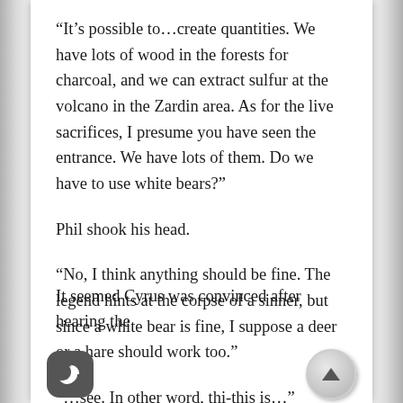“It’s possible to…create quantities. We have lots of wood in the forests for charcoal, and we can extract sulfur at the volcano in the Zardin area. As for the live sacrifices, I presume you have seen the entrance. We have lots of them. Do we have to use white bears?”
Phil shook his head.
“No, I think anything should be fine. The legend hints at the corpse of a sinner, but since a white bear is fine, I suppose a deer or a hare should work too.”
“…see. In other word, thi-this is…”
It seemed Cyrus was convinced after hearing the